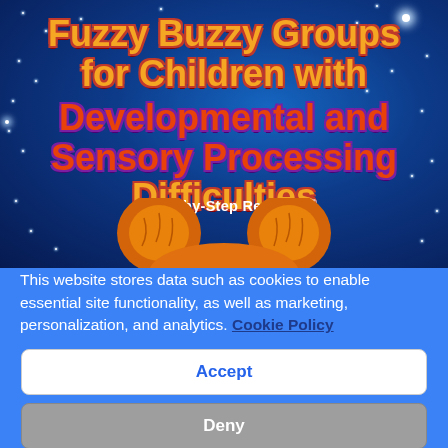[Figure (illustration): Book cover for 'Fuzzy Buzzy Groups for Children with Developmental and Sensory Processing Difficulties: A Step-by-Step Resource' on a dark blue starry background with an orange fuzzy bear illustration at the bottom.]
This website stores data such as cookies to enable essential site functionality, as well as marketing, personalization, and analytics. Cookie Policy
Accept
Deny